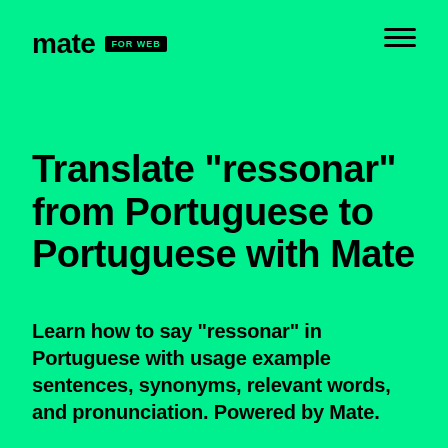mate FOR WEB
Translate "ressonar" from Portuguese to Portuguese with Mate
Learn how to say "ressonar" in Portuguese with usage example sentences, synonyms, relevant words, and pronunciation. Powered by Mate.